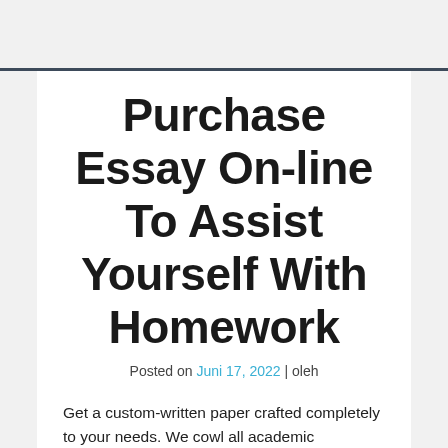Purchase Essay On-line To Assist Yourself With Homework
Posted on Juni 17, 2022 | oleh
Get a custom-written paper crafted completely to your needs. We cowl all academic disciplines and deliver